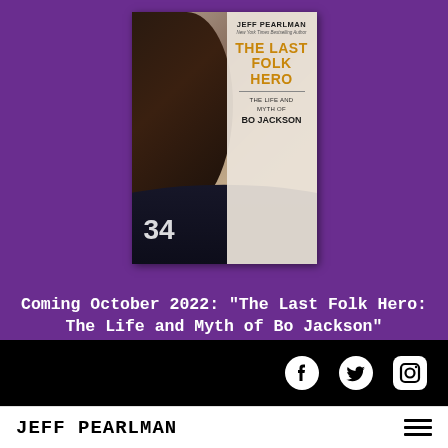[Figure (illustration): Book cover for 'The Last Folk Hero: The Life and Myth of Bo Jackson' by Jeff Pearlman. Shows a close-up profile of Bo Jackson's face in shadow against a muted background, with a dark football jersey showing the number 34. Text on cover includes author name, NY Times Bestselling Author credit, and book title in gold/orange lettering.]
Coming October 2022: "The Last Folk Hero: The Life and Myth of Bo Jackson"
[Figure (logo): Black section with social media icons: Facebook, Twitter, and Instagram in white circle/rounded square icons]
JEFF PEARLMAN